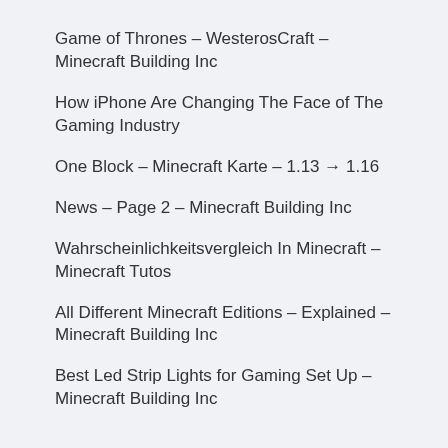Game of Thrones – WesterosCraft – Minecraft Building Inc
How iPhone Are Changing The Face of The Gaming Industry
One Block – Minecraft Karte – 1.13 → 1.16
News – Page 2 – Minecraft Building Inc
Wahrscheinlichkeitsvergleich In Minecraft – Minecraft Tutos
All Different Minecraft Editions – Explained – Minecraft Building Inc
Best Led Strip Lights for Gaming Set Up – Minecraft Building Inc